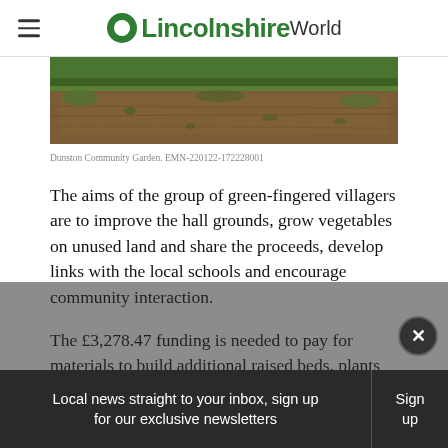Lincolnshire World
[Figure (photo): Dunston Community Garden - aerial/ground view showing soil beds and green grass edges]
Dunston Community Garden. EMN-220122-172228001
The aims of the group of green-fingered villagers are to improve the hall grounds, grow vegetables on unused land and share the proceeds, develop links with the local schools and encourage community interaction.
The £3,278.47 funding is needed to pay for materials to build additional raised beds, plants and seeds, outdoor seating, signage
Local news straight to your inbox, sign up for our exclusive newsletters Sign up